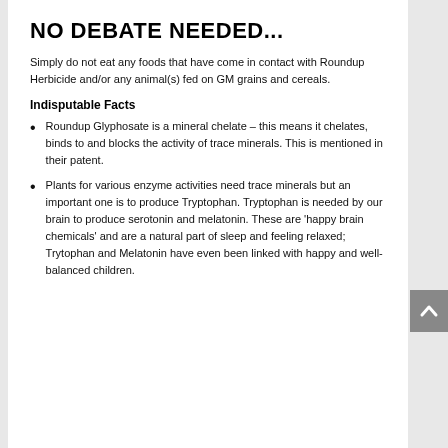NO DEBATE NEEDED...
Simply do not eat any foods that have come in contact with Roundup Herbicide and/or any animal(s) fed on GM grains and cereals.
Indisputable Facts
Roundup Glyphosate is a mineral chelate – this means it chelates, binds to and blocks the activity of trace minerals. This is mentioned in their patent.
Plants for various enzyme activities need trace minerals but an important one is to produce Tryptophan. Tryptophan is needed by our brain to produce serotonin and melatonin. These are 'happy brain chemicals' and are a natural part of sleep and feeling relaxed; Trytophan and Melatonin have even been linked with happy and well-balanced children.